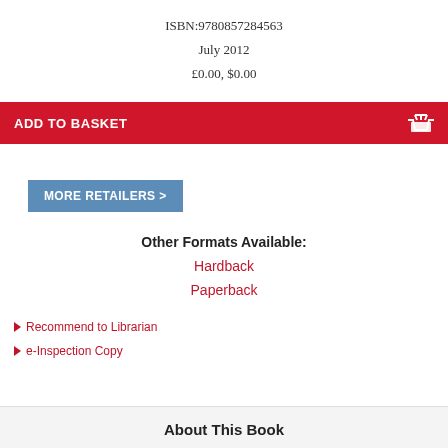ISBN:9780857284563
July 2012
£0.00, $0.00
ADD TO BASKET
MORE RETAILERS >
Other Formats Available:
Hardback
Paperback
Recommend to Librarian
e-Inspection Copy
About This Book